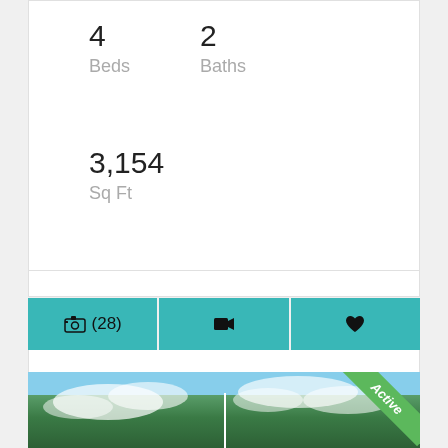4
Beds
2
Baths
3,154
Sq Ft
📷 (28)
🎥
♥
[Figure (photo): Aerial view of a wooded landscape with green trees under a partly cloudy blue sky. A white flag pole is visible in the center. An 'Active' badge in green appears in the top-right corner.]